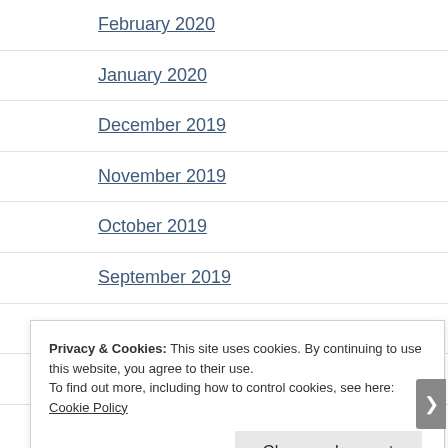February 2020
January 2020
December 2019
November 2019
October 2019
September 2019
August 2019
July 2019
June 2019
May 2019
Privacy & Cookies: This site uses cookies. By continuing to use this website, you agree to their use.
To find out more, including how to control cookies, see here: Cookie Policy
Close and accept